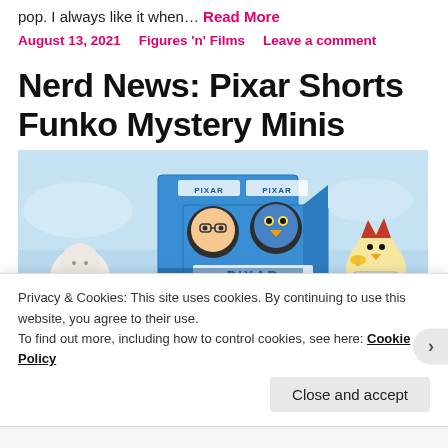pop. I always like it when… Read More
August 13, 2021 | Figures 'n' Films | Leave a comment
Nerd News: Pixar Shorts Funko Mystery Minis
[Figure (photo): Pixar Shorts Funko Mystery Minis product photo showing box packaging labeled PIXAR and various small figurines on a light blue background]
Privacy & Cookies: This site uses cookies. By continuing to use this website, you agree to their use. To find out more, including how to control cookies, see here: Cookie Policy
Close and accept